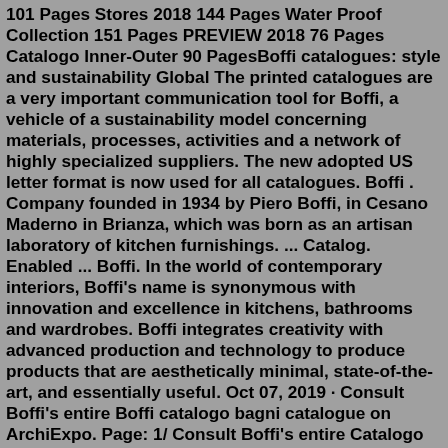101 Pages Stores 2018 144 Pages Water Proof Collection 151 Pages PREVIEW 2018 76 Pages Catalogo Inner-Outer 90 PagesBoffi catalogues: style and sustainability Global The printed catalogues are a very important communication tool for Boffi, a vehicle of a sustainability model concerning materials, processes, activities and a network of highly specialized suppliers. The new adopted US letter format is now used for all catalogues. Boffi . Company founded in 1934 by Piero Boffi, in Cesano Maderno in Brianza, which was born as an artisan laboratory of kitchen furnishings. ... Catalog. Enabled ... Boffi. In the world of contemporary interiors, Boffi's name is synonymous with innovation and excellence in kitchens, bathrooms and wardrobes. Boffi integrates creativity with advanced production and technology to produce products that are aesthetically minimal, state-of-the-art, and essentially useful. Oct 07, 2019 · Consult Boffi's entire Boffi catalogo bagni catalogue on ArchiExpo. Page: 1/ Consult Boffi's entire Catalogo Inner-Outer catalogue